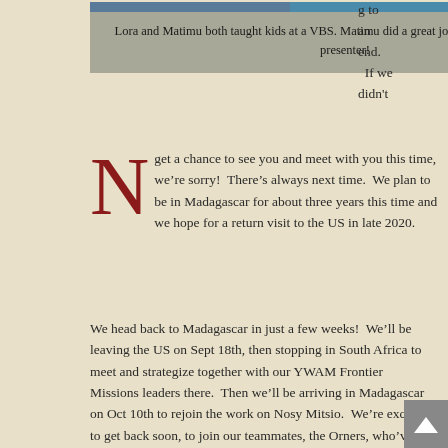[Figure (photo): Photo of people at a VBS event, partially visible at top]
Lora and Matimu both taught kids at a VBS. Matimu did a great job and was an enthusiastic presenter!
g to an end. If we didn't
get a chance to see you and meet with you this time, we’re sorry! There’s always next time. We plan to be in Madagascar for about three years this time and we hope for a return visit to the US in late 2020.
We head back to Madagascar in just a few weeks! We’ll be leaving the US on Sept 18th, then stopping in South Africa to meet and strategize together with our YWAM Frontier Missions leaders there. Then we’ll be arriving in Madagascar on Oct 10th to rejoin the work on Nosy Mitsio. We’re excited to get back soon, to join our teammates, the Orners, who’ve returned before us, and to see all that God has been doing in our absence and